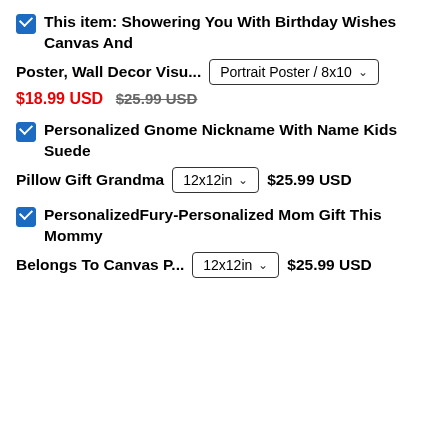This item: Showering You With Birthday Wishes Canvas And Poster, Wall Decor Visu... | Portrait Poster / 8x10 | $18.99 USD $25.99 USD
Personalized Gnome Nickname With Name Kids Suede Pillow Gift Grandma | 12x12in | $25.99 USD
PersonalizedFury-Personalized Mom Gift This Mommy Belongs To Canvas P... | 12x12in | $25.99 USD